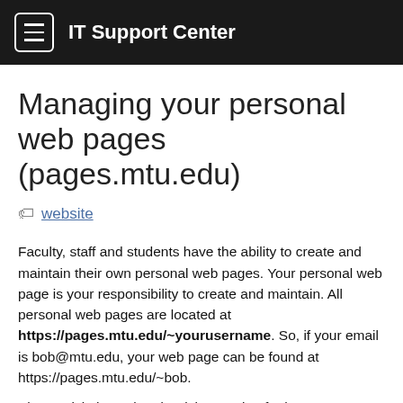IT Support Center
Managing your personal web pages (pages.mtu.edu)
website
Faculty, staff and students have the ability to create and maintain their own personal web pages. Your personal web page is your responsibility to create and maintain. All personal web pages are located at https://pages.mtu.edu/~yourusername. So, if your email is bob@mtu.edu, your web page can be found at https://pages.mtu.edu/~bob.
Please visit the Related Articles section for how to access your M: multidrive.
Instructions